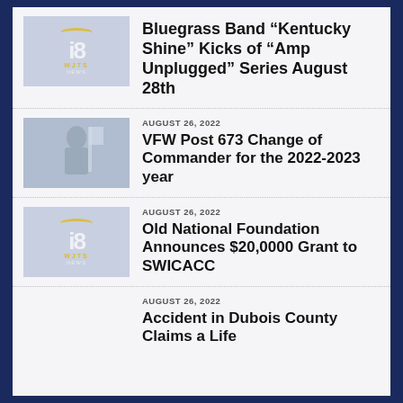[Figure (logo): WJTS News 18 logo thumbnail]
Bluegrass Band “Kentucky Shine” Kicks of “Amp Unplugged” Series August 28th
AUGUST 26, 2022
[Figure (photo): Person standing with flags]
VFW Post 673 Change of Commander for the 2022-2023 year
AUGUST 26, 2022
[Figure (logo): WJTS News 18 logo thumbnail]
Old National Foundation Announces $20,0000 Grant to SWICACC
AUGUST 26, 2022
Accident in Dubois County Claims a Life